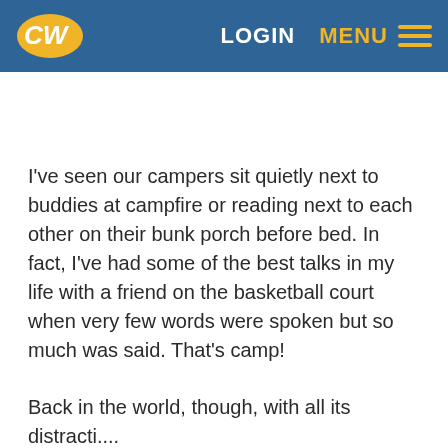[Figure (logo): CW logo in yellow and white on blue header background, with LOGIN and MENU navigation items on the right]
I've seen our campers sit quietly next to buddies at campfire or reading next to each other on their bunk porch before bed. In fact, I've had some of the best talks in my life with a friend on the basketball court when very few words were spoken but so much was said. That's camp!
Back in the world, though, with all its distracti....
Oops, sorry, I just got a text....